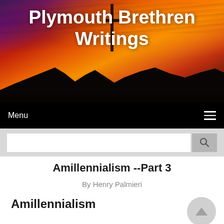Plymouth Brethren Writings
Menu
[Figure (screenshot): Search input box with a magnifying glass icon on a grey background]
Amillennialism --Part 3
By Henry Palmieri
Amillennialism Part 3